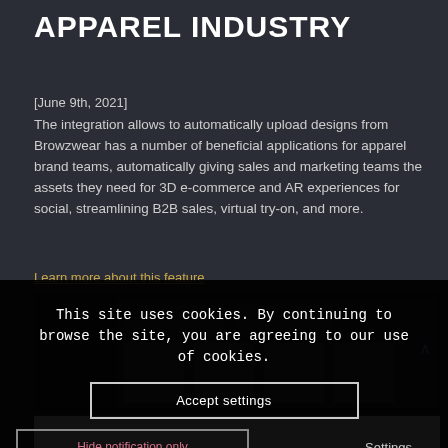APPAREL INDUSTRY
[June 9th, 2021]
The integration allows to automatically upload designs from Browzwear has a number of beneficial applications for apparel brand teams, automatically giving sales and marketing teams the assets they need for 3D e-commerce and AR experiences for social, streamlining B2B sales, virtual try-on, and more.
Learn more about this feature
[Figure (screenshot): Screenshot of a web application interface showing apparel/garment design software]
This site uses cookies. By continuing to browse the site, you are agreeing to our use of cookies.
Accept settings
Hide notification only
Settings